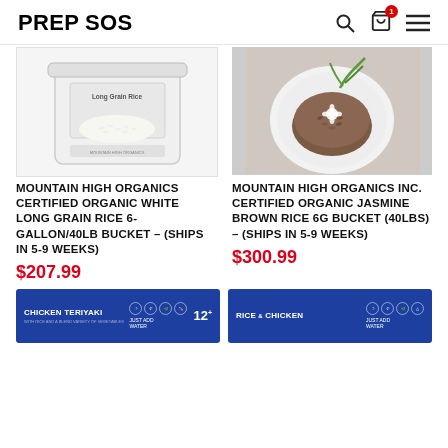PREP SOS
[Figure (photo): White bucket of Long Grain Rice product]
[Figure (photo): Plate of brown jasmine rice with garnish]
MOUNTAIN HIGH ORGANICS CERTIFIED ORGANIC WHITE LONG GRAIN RICE 6-GALLON/40LB BUCKET – (SHIPS IN 5-9 WEEKS)
$207.99
MOUNTAIN HIGH ORGANICS INC. CERTIFIED ORGANIC JASMINE BROWN RICE 6G BUCKET (40LBS) – (SHIPS IN 5-9 WEEKS)
$300.99
[Figure (photo): Blue package of Chicken Teriyaki meal with icons and 12 servings badge]
[Figure (photo): Blue package of Rice & Chicken meal with icons]